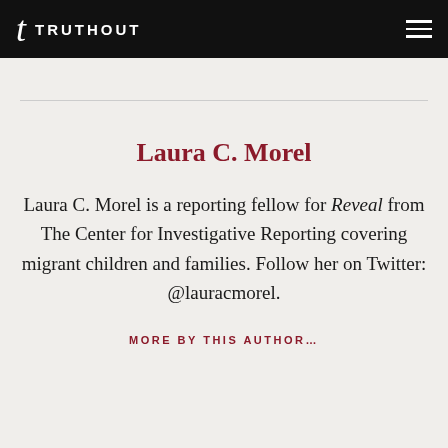TRUTHOUT
Laura C. Morel
Laura C. Morel is a reporting fellow for Reveal from The Center for Investigative Reporting covering migrant children and families. Follow her on Twitter: @lauracmorel.
MORE BY THIS AUTHOR...